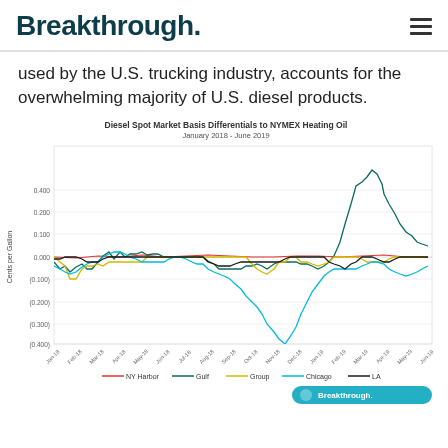Breakthrough.
used by the U.S. trucking industry, accounts for the overwhelming majority of U.S. diesel products.
[Figure (line-chart): Line chart showing diesel spot market basis differentials to NYMEX Heating Oil from January 2018 to June 2019 for NY Harbor, Gulf, Group, Chicago, and LA. Chicago line shows a notable dip to about -0.400 around Jan 2019 and Gulf shows a spike to about 0.400 around April-May 2019.]